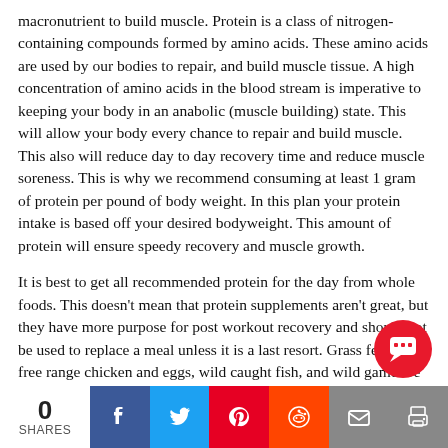macronutrient to build muscle. Protein is a class of nitrogen-containing compounds formed by amino acids. These amino acids are used by our bodies to repair, and build muscle tissue. A high concentration of amino acids in the blood stream is imperative to keeping your body in an anabolic (muscle building) state. This will allow your body every chance to repair and build muscle. This also will reduce day to day recovery time and reduce muscle soreness. This is why we recommend consuming at least 1 gram of protein per pound of body weight. In this plan your protein intake is based off your desired bodyweight. This amount of protein will ensure speedy recovery and muscle growth.
It is best to get all recommended protein for the day from whole foods. This doesn't mean that protein supplements aren't great, but they have more purpose for post workout recovery and should not be used to replace a meal unless it is a last resort. Grass fed beef, free range chicken and eggs, wild caught fish, and wild game are top picks for protein sources. These sources are the best for health, vitality, longevity, and quality of
0 SHARES | Facebook | Twitter | Pinterest | Reddit | Email | Print